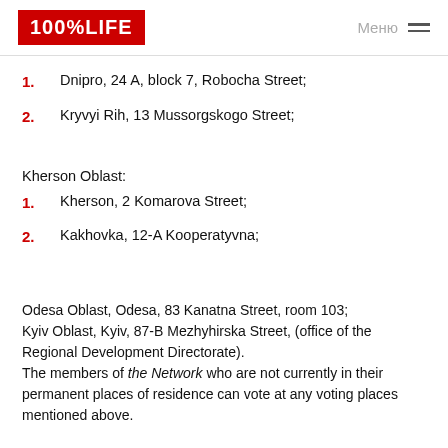100%LIFE | Меню
1. Dnipro, 24 A, block 7, Robocha Street;
2. Kryvyi Rih, 13 Mussorgskogo Street;
Kherson Oblast:
1. Kherson, 2 Komarova Street;
2. Kakhovka, 12-A Kooperatyvna;
Odesa Oblast, Odesa, 83 Kanatna Street, room 103;
Kyiv Oblast, Kyiv, 87-B Mezhyhirska Street, (office of the Regional Development Directorate).
The members of the Network who are not currently in their permanent places of residence can vote at any voting places mentioned above.